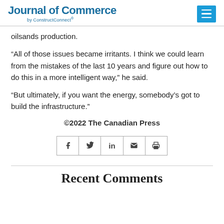Journal of Commerce by ConstructConnect®
oilsands production.
“All of those issues became irritants. I think we could learn from the mistakes of the last 10 years and figure out how to do this in a more intelligent way,” he said.
“But ultimately, if you want the energy, somebody’s got to build the infrastructure.”
©2022 The Canadian Press
[Figure (other): Social share bar with icons for Facebook, Twitter, LinkedIn, Email, and Print]
Recent Comments